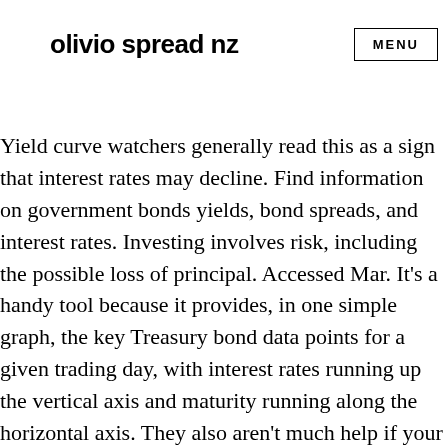olivio spread nz
Yield curve watchers generally read this as a sign that interest rates may decline. Find information on government bonds yields, bond spreads, and interest rates. Investing involves risk, including the possible loss of principal. Accessed Mar. It's a handy tool because it provides, in one simple graph, the key Treasury bond data points for a given trading day, with interest rates running up the vertical axis and maturity running along the horizontal axis. They also aren't much help if your bond is called early—or if you want to evaluate the lowest yield you can receive from your bond. To figure